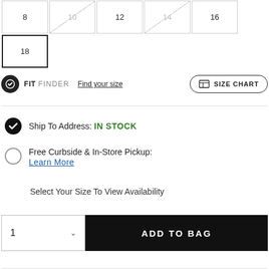Size: 8 (available), 10 (unavailable), 12 (available), 14 (unavailable), 16 (available), 18 (selected)
FIT FINDER Find your size | SIZE CHART
Ship To Address: IN STOCK
Free Curbside & In-Store Pickup: Learn More
Select Your Size To View Availability
1  ADD TO BAG